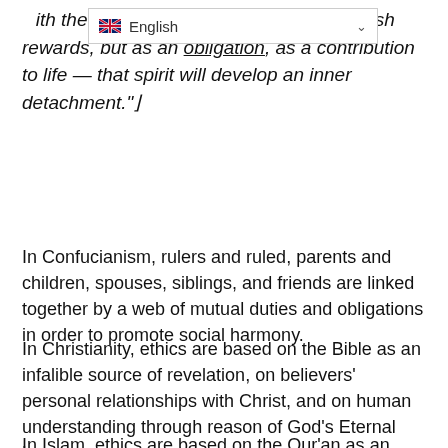w...h the attitude of not thinking of any selfish rewards, but as an obligation, as a contribution to life — that spirit will develop an inner detachment."
In Confucianism, rulers and ruled, parents and children, spouses, siblings, and friends are linked together by a web of mutual duties and obligations in order to promote social harmony.
In Christianity, ethics are based on the Bible as an infalible source of revelation, on believers' personal relationships with Christ, and on human understanding through reason of God's Eternal Law.
In Islam, ethics are based on the Qur'an as an infalible source of revelation, and believers have a duty to submit